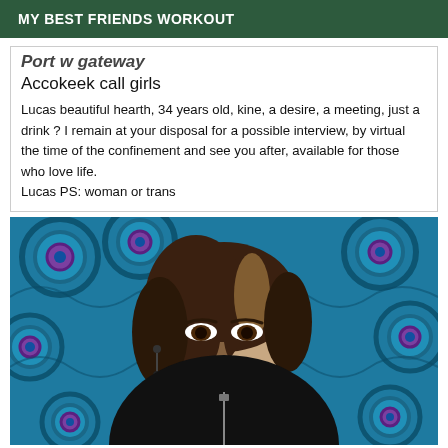MY BEST FRIENDS WORKOUT
Port w gateway
Accokeek call girls
Lucas beautiful hearth, 34 years old, kine, a desire, a meeting, just a drink ? I remain at your disposal for a possible interview, by virtual the time of the confinement and see you after, available for those who love life. Lucas PS: woman or trans
[Figure (photo): Portrait photo of a person with shoulder-length dark hair with blonde highlights, wearing dark lipstick and drop earrings, dressed in a black sleeveless zip-front top, posed against a blue peacock-feather patterned fabric background.]